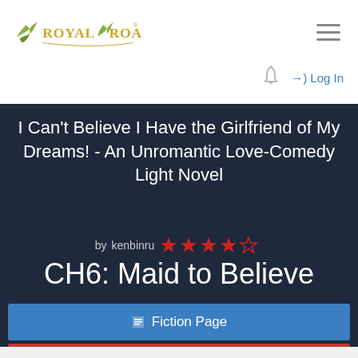[Figure (logo): Royal Road logo with golden text and leaf emblem]
Log In
I Can't Believe I Have the Girlfriend of My Dreams! - An Unromantic Love-Comedy Light Novel
by kenbinru ★★★★☆
CH6: Maid to Believe
Fiction Page
Report Chapter